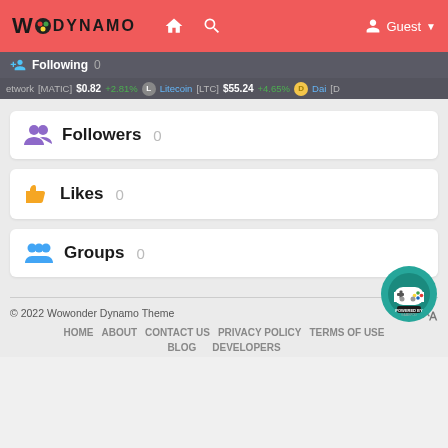WoDYNAMO — Guest
Following 0
MATIC $0.82 +2.81% Litecoin [LTC] $55.24 +4.65% Dai
Followers 0
Likes 0
Groups 0
© 2022 Wowonder Dynamo Theme HOME ABOUT CONTACT US PRIVACY POLICY TERMS OF USE BLOG DEVELOPERS